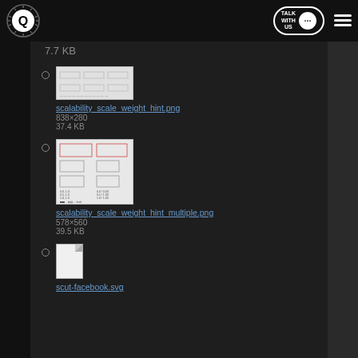TALK WITH US [navigation header with logo and hamburger menu]
7.7 KB
scalability_scale_weight_hint.png
838×280
37.4 KB
[Figure (screenshot): Thumbnail image of scalability_scale_weight_hint.png showing a layout with rows of rectangular boxes]
scalability_scale_weight_hint_multiple.png
578×560
39.5 KB
[Figure (screenshot): Thumbnail image of scalability_scale_weight_hint_multiple.png showing two-column layout of boxes with size annotations]
scut-facebook.svg
[Figure (illustration): Generic file icon thumbnail for scut-facebook.svg]